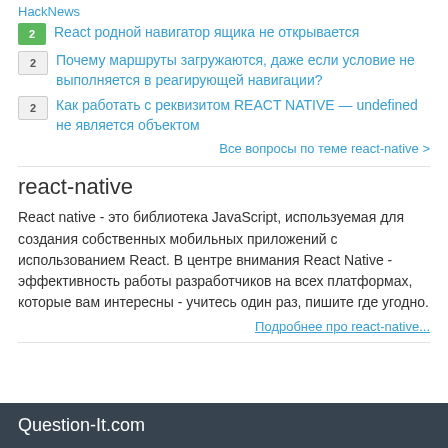HackNews
2  React родной навигатор ящика не открывается
2  Почему маршруты загружаются, даже если условие не выполняется в реагирующей навигации?
2  Как работать с реквизитом REACT NATIVE — undefined не является объектом
Все вопросы по теме react-native >
react-native
React native - это библиотека JavaScript, используемая для создания собственных мобильных приложений с использованием React. В центре внимания React Native - эффективность работы разработчиков на всех платформах, которые вам интересны - учитесь один раз, пишите где угодно.
Подробнее про react-native...
Question-It.com